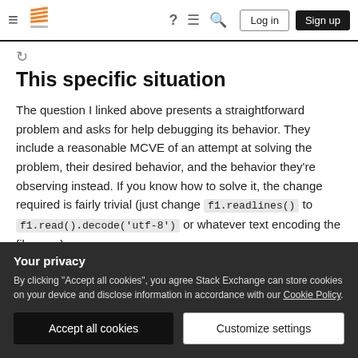Stack Exchange navigation bar with hamburger menu, logo, help, chat, search, Log in, Sign up buttons
This specific situation
The question I linked above presents a straightforward problem and asks for help debugging its behavior. They include a reasonable MCVE of an attempt at solving the problem, their desired behavior, and the behavior they're observing instead. If you know how to solve it, the change required is fairly trivial (just change f1.readlines() to f1.read().decode('utf-8') or whatever text encoding the file uses).
Your privacy
By clicking "Accept all cookies", you agree Stack Exchange can store cookies on your device and disclose information in accordance with our Cookie Policy.
Accept all cookies  Customize settings